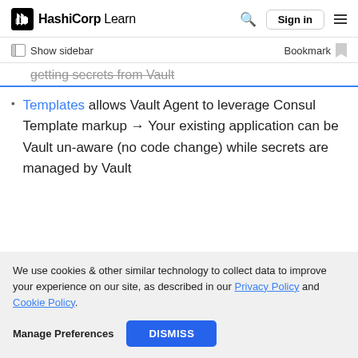HashiCorp Learn — Sign in
Show sidebar   Bookmark
getting secrets from Vault
Templates allows Vault Agent to leverage Consul Template markup → Your existing application can be Vault un-aware (no code change) while secrets are managed by Vault
We use cookies & other similar technology to collect data to improve your experience on our site, as described in our Privacy Policy and Cookie Policy. Manage Preferences DISMISS